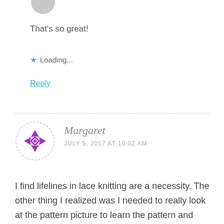[Figure (photo): Partial circular avatar photo at top left, cropped at top edge]
That's so great!
★ Loading...
Reply
[Figure (logo): Margaret's avatar: circular icon with purple geometric quilt star pattern on white background with dashed border]
Margaret
JULY 5, 2017 AT 10:02 AM
I find lifelines in lace knitting are a necessity. The other thing I realized was I needed to really look at the pattern picture to learn the pattern and then look at the work to see if it “looks” right, matching the pattern. I am a bit more brave when it comes to ripping out knitting to do it correctly.